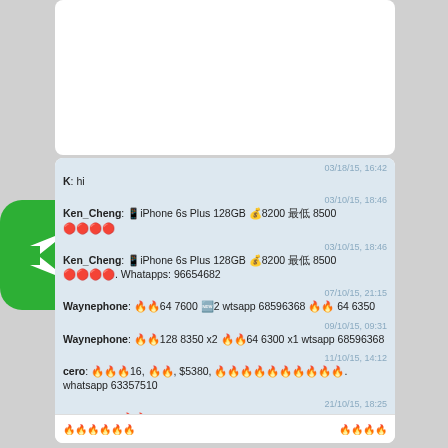[Figure (screenshot): Partial top white card (cut off at top of page)]
[Figure (logo): Green rounded square icon with white recycling/swap arrows symbol]
K: hi
03/18/15, 16:42

Ken_Cheng: 📱iPhone 6s Plus 128GB 💰8200 最低8500 🔴🔴🔴🔴
03/10/15, 18:46

Ken_Cheng: 📱iPhone 6s Plus 128GB 💰8200 最低8500 🔴🔴🔴🔴. Whatapps: 96654682
03/10/15, 18:46

Waynephone: 🔥🔥64 7600 🆕2 wtsapp 68596368 🔥🔥64 6350
07/10/15, 21:15

Waynephone: 🔥🔥128 8350 x2 🔥🔥64 6300 x1 wtsapp 68596368
09/10/15, 09:31

cero: 🔥🔥🔥16, 🔥🔥, $5380, 🔥🔥🔥🔥🔥🔥🔥🔥🔥🔥. whatsapp 63357510
11/10/15, 14:12

Iphonedea: 🔥🔥64 7300 wstapp 68596368
21/10/15, 18:25

Vincent: 🔥🔥128@8300 pm/ whatsapp 91707213
27/10/15, 23:54

PDF Converter: Convert PDF To Exce
05/11/15, 10:47

🔥🔥🔥: 🔥🔥🔥
01/04/16, 00:16
🔥🔥🔥🔥🔥🔥